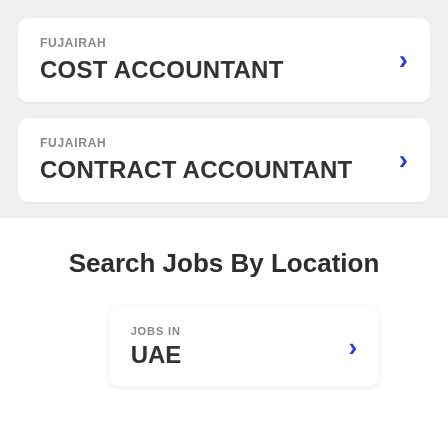FUJAIRAH — COST ACCOUNTANT
FUJAIRAH — CONTRACT ACCOUNTANT
Search Jobs By Location
JOBS IN — UAE